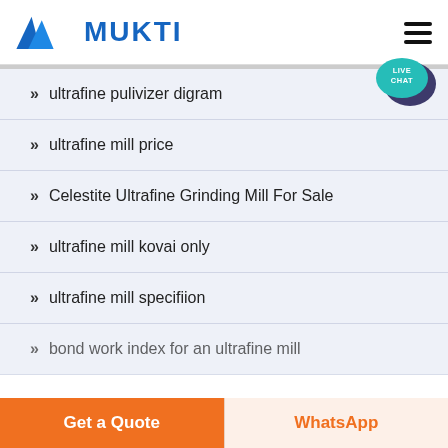MUKTI
» ultrafine pulivizer digram
» ultrafine mill price
» Celestite Ultrafine Grinding Mill For Sale
» ultrafine mill kovai only
» ultrafine mill specifiion
» bond work index for an ultrafine mill